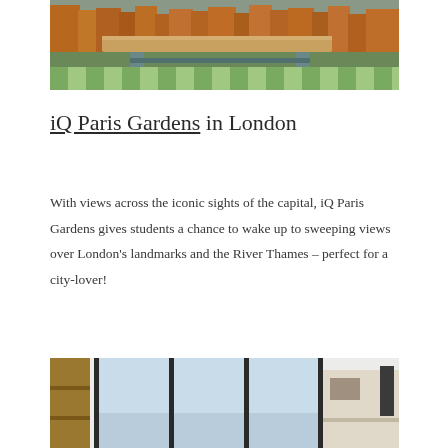[Figure (photo): Rooftop terrace with a wooden bench/table on metal legs, green-striped lawn area below, and London cityscape buildings in the background]
iQ Paris Gardens in London
With views across the iconic sights of the capital, iQ Paris Gardens gives students a chance to wake up to sweeping views over London’s landmarks and the River Thames – perfect for a city-lover!
[Figure (photo): Student room interior with wooden shelving unit on the left, large floor-to-ceiling windows with London skyline view, and a desk area on the right]